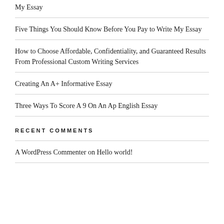My Essay
Five Things You Should Know Before You Pay to Write My Essay
How to Choose Affordable, Confidentiality, and Guaranteed Results From Professional Custom Writing Services
Creating An A+ Informative Essay
Three Ways To Score A 9 On An Ap English Essay
RECENT COMMENTS
A WordPress Commenter on Hello world!